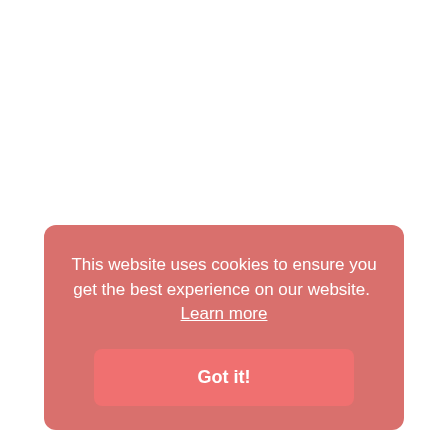This website uses cookies to ensure you get the best experience on our website.  Learn more
Got it!